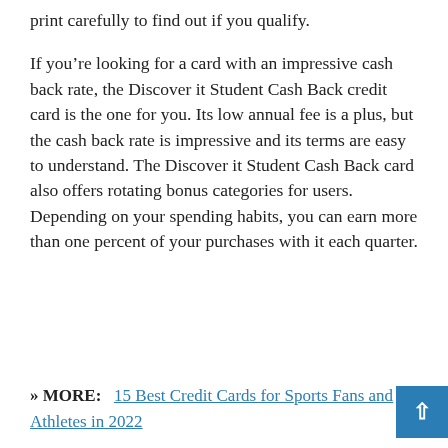print carefully to find out if you qualify.
If you’re looking for a card with an impressive cash back rate, the Discover it Student Cash Back credit card is the one for you. Its low annual fee is a plus, but the cash back rate is impressive and its terms are easy to understand. The Discover it Student Cash Back card also offers rotating bonus categories for users. Depending on your spending habits, you can earn more than one percent of your purchases with it each quarter.
» MORE:   15 Best Credit Cards for Sports Fans and Athletes in 2022